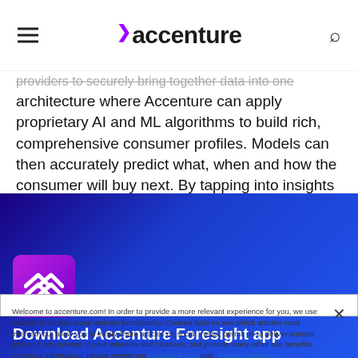accenture
providers to securely bring together data into one architecture where Accenture can apply proprietary AI and ML algorithms to build rich, comprehensive consumer profiles. Models can then accurately predict what, when and how the consumer will buy next. By tapping into insights from data across Accenture’s multiple ecosystem partners instead of just a single provider, brands can expand their online audience and boost their shop-to-order conversions.
Welcome to accenture.com! In order to provide a more relevant experience for you, we use cookies to enable some website functionality. Cookies help us see which articles most interest you; allow you to easily share articles on social media; permit us to deliver content, jobs and ads tailored to your interests and locations; and provide many other site benefits. For more information, please review our Cookies Policy and Privacy Statement.
› Cookies Settings
Download Accenture Foresight app